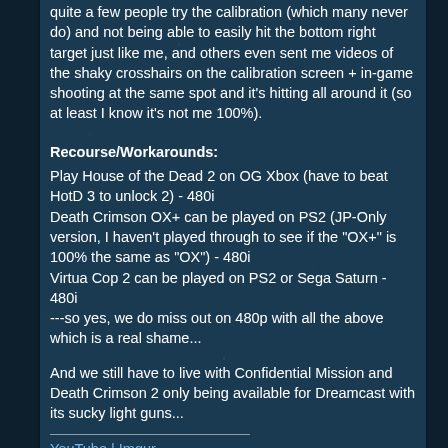quite a few people try the calibration (which many never do) and not being able to easily hit the bottom right target just like me, and others even sent me videos of the shaky crosshairs on the calibration screen + in-game shooting at the same spot and it's hitting all around it (so at least I know it's not me 100%).
Recourse/Workarounds:
Play House of the Dead 2 on OG Xbox (have to beat HotD 3 to unlock 2) - 480i
Death Crimson OX+ can be played on PS2 (JP-Only version, I haven't played through to see if the "OX+" is 100% the same as "OX") - 480i
Virtua Cop 2 can be played on PS2 or Sega Saturn - 480i
---so yes, we do miss out on 480p with all the above which is a real shame...
And we still have to live with Confidential Mission and Death Crimson 2 only being available for Dreamcast with its sucky light guns...
YouTube | Imgur